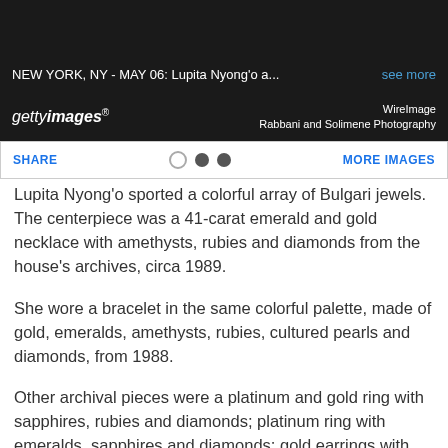[Figure (screenshot): Getty Images screenshot showing a dark header bar with image title 'NEW YORK, NY - MAY 06: Lupita Nyong'o a...' and 'see more' link, Getty Images logo with WireImage/Rabbani and Solimene Photography credit, and a SHARE / dots / MORE IMAGES navigation bar]
Lupita Nyong'o sported a colorful array of Bulgari jewels. The centerpiece was a 41-carat emerald and gold necklace with amethysts, rubies and diamonds from the house's archives, circa 1989.
She wore a bracelet in the same colorful palette, made of gold, emeralds, amethysts, rubies, cultured pearls and diamonds, from 1988.
Other archival pieces were a platinum and gold ring with sapphires, rubies and diamonds; platinum ring with emeralds, sapphires and diamonds; gold earrings with emeralds, rubies, sapphires and diamonds; and a gold ring with emeralds, rubies, sapphires and diamonds; all circa 1960.